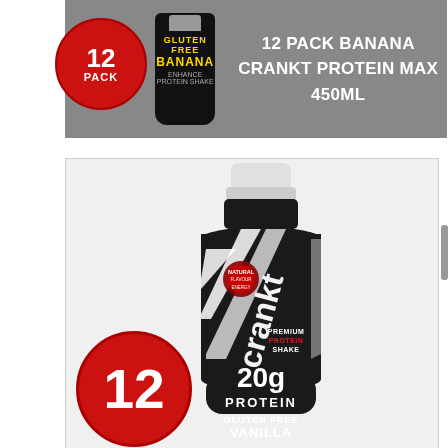[Figure (photo): Top banner showing a 12 PACK BANANA CRANKT PROTEIN MAX 450ML product. Gray background with a red circle badge showing '12 PACK' and a black bottle with yellow BANANA label. White text reads '12 PACK BANANA CRANKT PROTEIN MAX 450ML'.]
[Figure (photo): A Crankt Premium Protein Shake bottle in black and white design. The bottle shows 'crankt' branding, '20g PROTEIN', 'GLUTEN FREE VANILLA' text, and a red circle badge with '12'. Bottom of visible area shows partial VANILLA flavor label.]